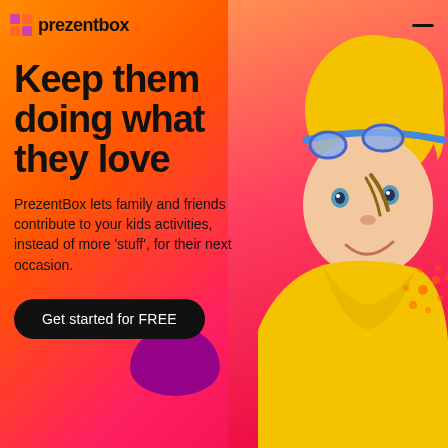prezentbox
Keep them doing what they love
PrezentBox lets family and friends contribute to your kids activities, instead of more 'stuff', for their next occasion.
Get started for FREE
[Figure (photo): Young child wearing a yellow swim cap and blue swimming goggles, dressed in a yellow towel/robe, smiling at the camera against a warm gradient background.]